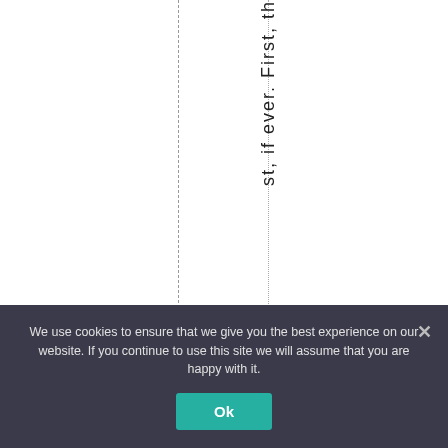st, if ever. First, th
We use cookies to ensure that we give you the best experience on our website. If you continue to use this site we will assume that you are happy with it.